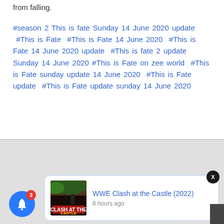from falling.
#season 2 This is fate Sunday 14 June 2020 update  #This is Fate  #This is Fate 14 June 2020  #This is Fate 14 June 2020 update  #This is fate 2 update Sunday 14 June 2020  #This is Fate on zee world  #This is Fate sunday update 14 June 2020  #This is Fate update  #This is Fate update sunday 14 June 2020
[Figure (screenshot): Notification popup for WWE Clash at the Castle (2022) with thumbnail image, blue notification bell with badge count 3, and close X button]
WWE Clash at the Castle (2022)
6 hours ago